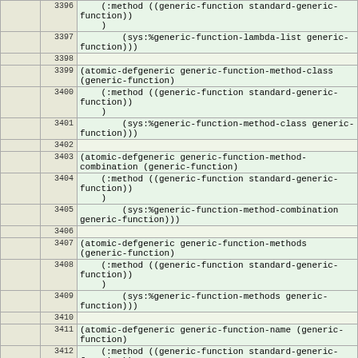|  | line | code |
| --- | --- | --- |
|  | 3396 |     (:method ((generic-function standard-generic-function)) |
|  | 3397 |         (sys:%generic-function-lambda-list generic-function))) |
|  | 3398 |  |
|  | 3399 | (atomic-defgeneric generic-function-method-class (generic-function) |
|  | 3400 |     (:method ((generic-function standard-generic-function)) |
|  | 3401 |         (sys:%generic-function-method-class generic-function))) |
|  | 3402 |  |
|  | 3403 | (atomic-defgeneric generic-function-method-combination (generic-function) |
|  | 3404 |     (:method ((generic-function standard-generic-function)) |
|  | 3405 |         (sys:%generic-function-method-combination generic-function))) |
|  | 3406 |  |
|  | 3407 | (atomic-defgeneric generic-function-methods (generic-function) |
|  | 3408 |     (:method ((generic-function standard-generic-function)) |
|  | 3409 |         (sys:%generic-function-methods generic-function))) |
|  | 3410 |  |
|  | 3411 | (atomic-defgeneric generic-function-name (generic-function) |
|  | 3412 |     (:method ((generic-function standard-generic-function)) |
|  | 3413 |         (sys:%generic-function-name generic-function))) |
|  | 3414 |  |
| 3372 | 3415 | (eval-when (:compile-toplevel :load-toplevel |